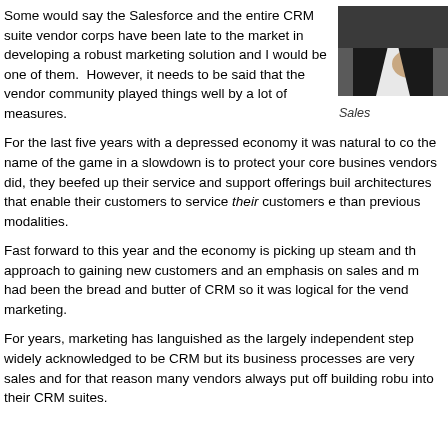Some would say the Salesforce and the entire CRM suite vendor corps have been late to the market in developing a robust marketing solution and I would be one of them.  However, it needs to be said that the vendor community played things well by a lot of measures.
[Figure (photo): Partial photo of a person in formal attire, cropped at the right edge. Caption reads 'Sales']
Sales
For the last five years with a depressed economy it was natural to co... the name of the game in a slowdown is to protect your core busines... vendors did, they beefed up their service and support offerings buil... architectures that enable their customers to service their customers e... than previous modalities.
Fast forward to this year and the economy is picking up steam and th... approach to gaining new customers and an emphasis on sales and m... had been the bread and butter of CRM so it was logical for the vend... marketing.
For years, marketing has languished as the largely independent step... widely acknowledged to be CRM but its business processes are very... sales and for that reason many vendors always put off building robu... into their CRM suites.